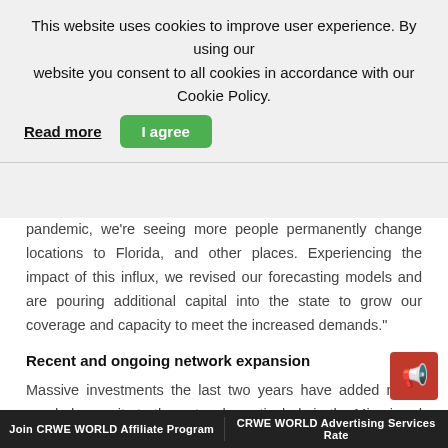This website uses cookies to improve user experience. By using our website you consent to all cookies in accordance with our Cookie Policy.
Read more | I agree
pandemic, we're seeing more people permanently change locations to Florida, and other places. Experiencing the impact of this influx, we revised our forecasting models and are pouring additional capital into the state to grow our coverage and capacity to meet the increased demands."
Recent and ongoing network expansion
Massive investments the last two years have added much needed capacity to the network, particularly in the Miami and Tampa markets where Super Bowl preparation efforts have accelerated network expansions. In 2020 and 2021, Verizon invested over $1 billion in the state of Florida. T...
Join CRWE WORLD Affiliate Program | CRWE WORLD Advertising Services Rate